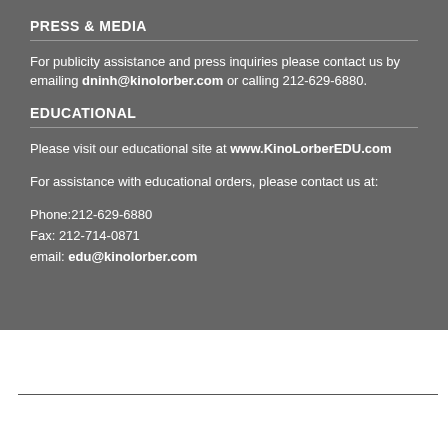PRESS & MEDIA
For publicity assistance and press inquiries please contact us by emailing dninh@kinolorber.com or calling 212-629-6880.
EDUCATIONAL
Please visit our educational site at www.KinoLorberEDU.com
For assistance with educational orders, please contact us at:
Phone:212-629-6880
Fax: 212-714-0871
email: edu@kinolorber.com
[Figure (logo): Kino Lorber logo in white bold text on dark background with social media icons (Facebook, Twitter, Instagram, YouTube)]